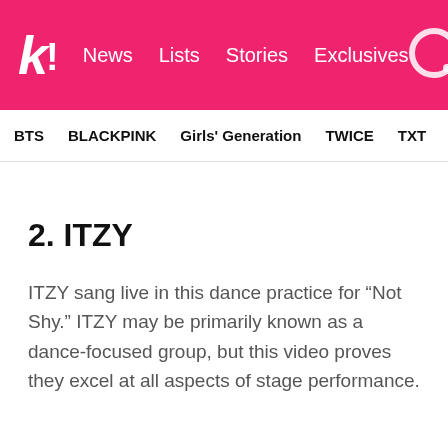koreaboo! News Lists Stories Exclusives
BTS BLACKPINK Girls' Generation TWICE TXT SEVE
2. ITZY
ITZY sang live in this dance practice for “Not Shy.” ITZY may be primarily known as a dance-focused group, but this video proves they excel at all aspects of stage performance.